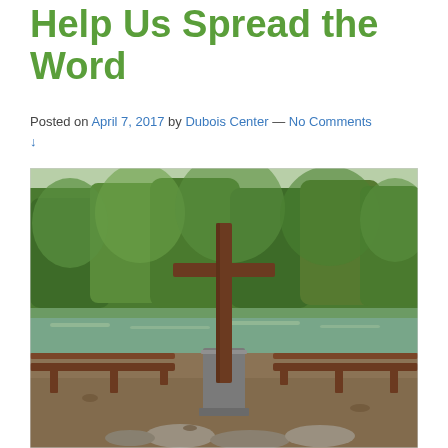Help Us Spread the Word
Posted on April 7, 2017 by Dubois Center — No Comments ↓
[Figure (photo): Outdoor chapel scene with a large wooden cross, stone altar/pedestal, wooden benches on dirt ground, with a pond and lush green trees reflected in the water in the background.]